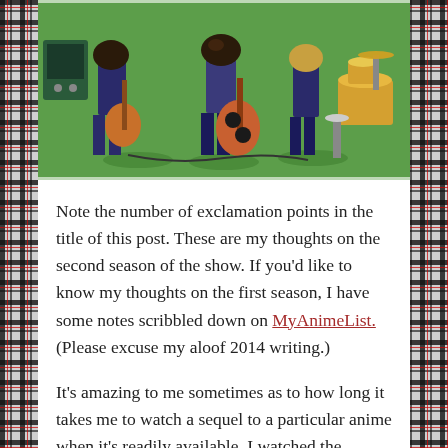[Figure (illustration): Anime illustration showing characters with guitars and a drum set on a green background, viewed from above/side angle. Appears to be from K-On! anime.]
Note the number of exclamation points in the title of this post. These are my thoughts on the second season of the show. If you'd like to know my thoughts on the first season, I have some notes scribbled down on MyAnimeList. (Please excuse my aloof 2014 writing.)
It's amazing to me sometimes as to how long it takes me to watch a sequel to a particular anime when it's readily available. I watched the